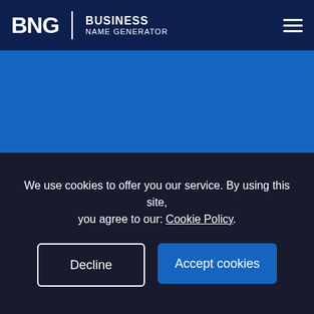BNG | BUSINESS NAME GENERATOR
Business Name Generator
Generate names for your basketball business below.
Popular Search: Fashion | Fitness | Gaming
Ex. Tech, Marketing, Agency
We use cookies to offer you our service. By using this site, you agree to our: Cookie Policy.
Decline
Accept cookies